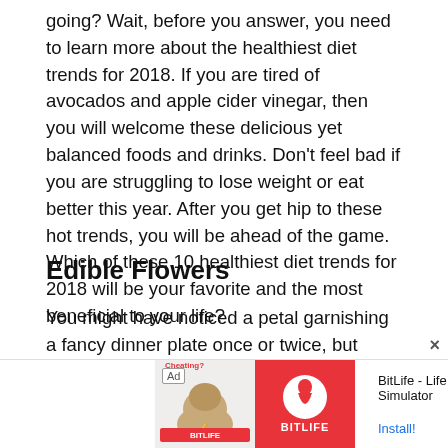going? Wait, before you answer, you need to learn more about the healthiest diet trends for 2018. If you are tired of avocados and apple cider vinegar, then you will welcome these delicious yet balanced foods and drinks. Don't feel bad if you are struggling to lose weight or eat better this year. After you get hip to these hot trends, you will be ahead of the game. Which of these 10 healthiest diet trends for 2018 will be your favorite and the most beneficial to your life?
Edible Flowers
You might have noticed a petal garnishing a fancy dinner plate once or twice, but floral food is about to blossom in 2018. There are a number of edible flowers from lavender and hibiscus to elderflower and rose. Furthermore, each one has a unique set of health benefits like improving
[Figure (other): Advertisement banner for BitLife - Life Simulator app, showing an Ad label, a promotional image with a muscular arm and 'Cheating?' text, a red BitLife logo, and the text 'BitLife - Life Simulator' with an 'Install!' link]